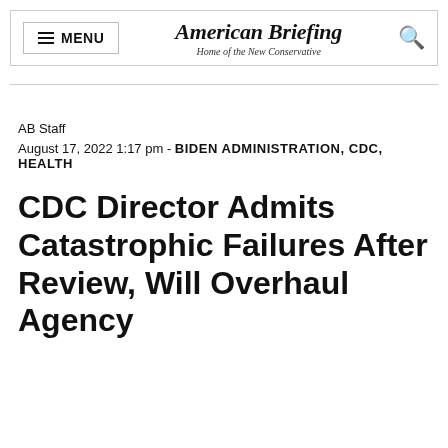American Briefing — Home of the New Conservative
AB Staff
August 17, 2022 1:17 pm - BIDEN ADMINISTRATION, CDC, HEALTH
CDC Director Admits Catastrophic Failures After Review, Will Overhaul Agency